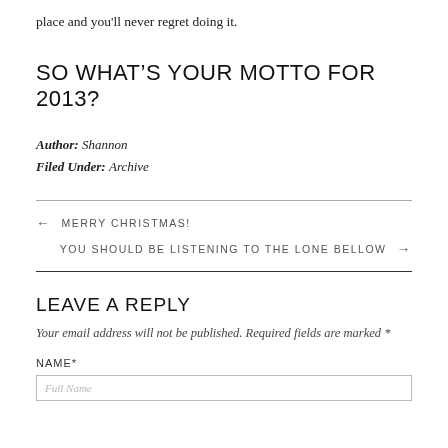place and you'll never regret doing it.
SO WHAT'S YOUR MOTTO FOR 2013?
Author: Shannon
Filed Under: Archive
← MERRY CHRISTMAS!
YOU SHOULD BE LISTENING TO THE LONE BELLOW →
LEAVE A REPLY
Your email address will not be published. Required fields are marked *
NAME*
Full Name